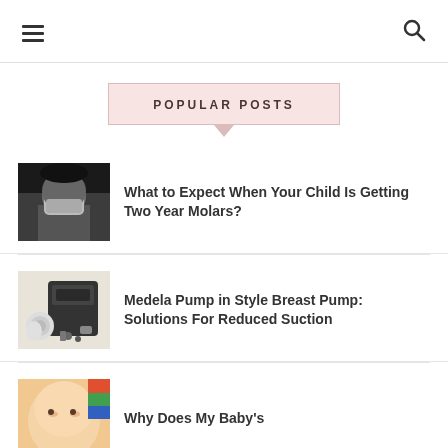Navigation menu icon and search icon
POPULAR POSTS
[Figure (photo): Black and white photo of a young child covering their face with their hand]
What to Expect When Your Child Is Getting Two Year Molars?
[Figure (photo): Photo of Medela Pump in Style breast pump with accessories and backpack]
Medela Pump in Style Breast Pump: Solutions For Reduced Suction
[Figure (photo): Close-up photo of a baby's face]
Why Does My Baby's